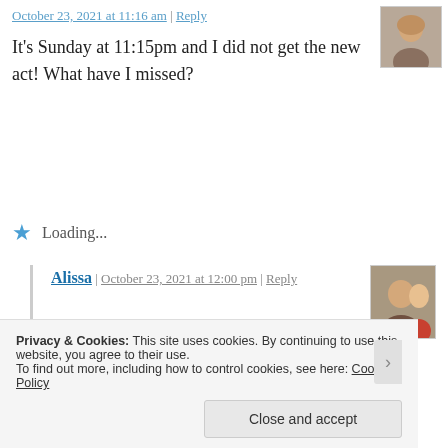October 23, 2021 at 11:16 am | Reply
[Figure (photo): Avatar photo of commenter - woman with light hair]
It's Sunday at 11:15pm and I did not get the new act! What have I missed?
Loading...
Alissa | October 23, 2021 at 12:00 pm | Reply
[Figure (photo): Avatar photo - woman with children]
Dates and times are based on the ET.
Privacy & Cookies: This site uses cookies. By continuing to use this website, you agree to their use.
To find out more, including how to control cookies, see here: Cookie Policy
Close and accept